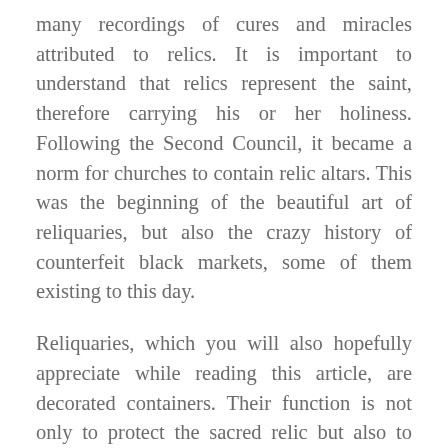many recordings of cures and miracles attributed to relics. It is important to understand that relics represent the saint, therefore carrying his or her holiness. Following the Second Council, it became a norm for churches to contain relic altars. This was the beginning of the beautiful art of reliquaries, but also the crazy history of counterfeit black markets, some of them existing to this day.
Reliquaries, which you will also hopefully appreciate while reading this article, are decorated containers. Their function is not only to protect the sacred relic but also to display it in its greatest. The most interesting ones resemble the relics encased within them. One more tidbit of knowledge before I move on to my personal top 10 of Christian Catholic relics: the Church divides relics into three classes.